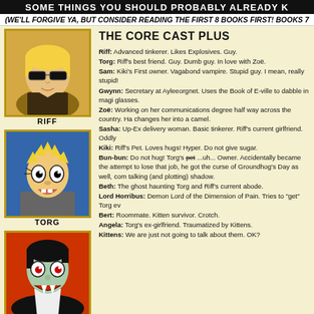SOME THINGS YOU SHOULD PROBABLY ALREADY K
(WE'LL FORGIVE YA, BUT CONSIDER READING THE FIRST 8 BOOKS FIRST! BOOKS 7
THE CORE CAST PLUS
[Figure (illustration): Comic portrait of RIFF - blond character with sunglasses]
[Figure (illustration): Comic portrait of TORG - blond character with wide eyes]
[Figure (illustration): Comic portrait of SAM - vampire-like character with fangs]
Riff: Advanced tinkerer. Likes Explosives. Guy. Torg: Riff's best friend. Guy. Dumb guy. In love with Zoë. Sam: Kiki's First owner. Vagabond vampire. Stupid guy. I mean, really stupid! Gwynn: Secretary at Ayleeorgnet. Uses the Book of E-ville to dabble in magic. glasses. Zoë: Working on her communications degree half way across the country. Ha changes her into a camel. Sasha: Up-Ex delivery woman. Basic tinkerer. Riff's current girlfriend. Oddly Kiki: Riff's Pet. Loves hugs! Hyper. Do not give sugar. Bun-bun: Do not hug! Torg's pet ...uh... Owner. Accidentally became the attempt to lose that job, he got the curse of Groundhog's Day as well, com talking (and plotting) shadow. Beth: The ghost haunting Torg and Riff's current abode. Lord Horribus: Demon Lord of the Dimension of Pain. Tries to "get" Torg ev Bert: Roommate. Kitten survivor. Crotch. Angela: Torg's ex-girlfriend. Traumatized by Kittens. Kittens: We are just not going to talk about them. OK?
[Figure (illustration): Comic portrait of GWYNN - brown-haired female character]
[Figure (illustration): Comic portrait of ZOE - dark blue-haired female character]
[Figure (illustration): Comic portrait of SASHA - blond female character with hat]
[Figure (illustration): Comic portrait of KIKI - ferret-like animal character]
[Figure (illustration): Comic portrait of BUN-BUN - small white rabbit character]
[Figure (illustration): Comic portrait of BETH - partially visible character]